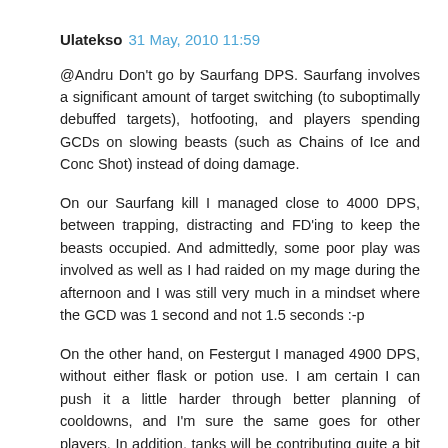Ulatekso  31 May, 2010 11:59
@Andru Don't go by Saurfang DPS. Saurfang involves a significant amount of target switching (to suboptimally debuffed targets), hotfooting, and players spending GCDs on slowing beasts (such as Chains of Ice and Conc Shot) instead of doing damage.
On our Saurfang kill I managed close to 4000 DPS, between trapping, distracting and FD'ing to keep the beasts occupied. And admittedly, some poor play was involved as well as I had raided on my mage during the afternoon and I was still very much in a mindset where the GCD was 1 second and not 1.5 seconds :-p
On the other hand, on Festergut I managed 4900 DPS, without either flask or potion use. I am certain I can push it a little harder through better planning of cooldowns, and I'm sure the same goes for other players. In addition, tanks will be contributing quite a bit more damage, due to the 90% increased damage buff Festergut applies over time.